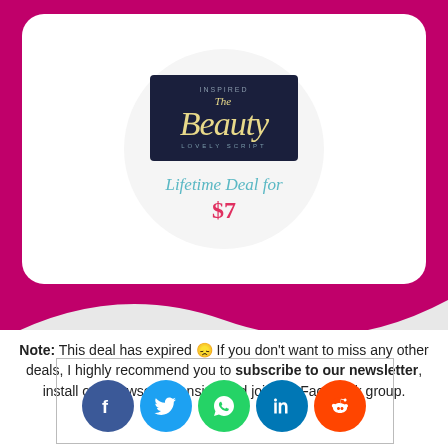[Figure (logo): The Beauty Lovely Script font logo on dark navy background]
Lifetime Deal for
$7
Note: This deal has expired 😞 If you don't want to miss any other deals, I highly recommend you to subscribe to our newsletter, install our browser extension and join the Facebook group.
[Figure (infographic): Social sharing buttons row: Facebook, Twitter, WhatsApp, LinkedIn, Reddit]